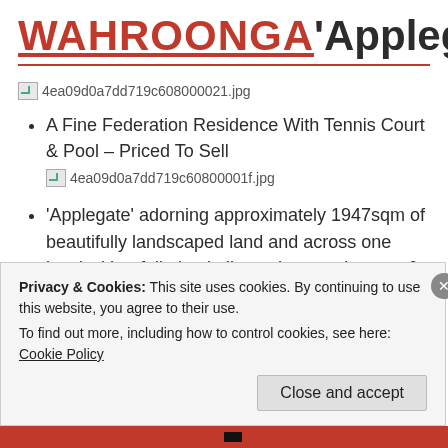WAHROONGA 'Applegate'
[Figure (photo): Broken image placeholder: 4ea09d0a7dd719c608000021.jpg]
A Fine Federation Residence With Tennis Court & Pool – Priced To Sell
'Applegate' adorning approximately 1947sqm of beautifully landscaped land and across one level with a full-sized all-weather tennis court & pool.
Privacy & Cookies: This site uses cookies. By continuing to use this website, you agree to their use. To find out more, including how to control cookies, see here: Cookie Policy